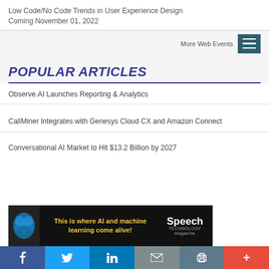Low Code/No Code Trends in User Experience Design
Coming November 01, 2022
More Web Events
POPULAR ARTICLES
Observe.AI Launches Reporting & Analytics
CallMiner Integrates with Genesys Cloud CX and Amazon Connect
Conversational AI Market to Hit $13.2 Billion by 2027
[Figure (infographic): Advertisement banner: 'This is where AI and machine learning come alive!' for Speech Technology magazine]
f  Twitter  in  Email  Print  +